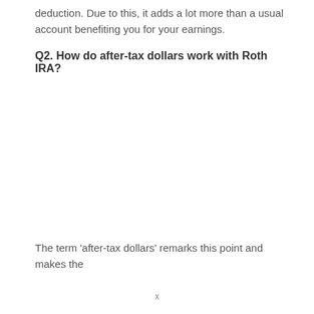deduction. Due to this, it adds a lot more than a usual account benefiting you for your earnings.
Q2. How do after-tax dollars work with Roth IRA?
The term ‘after-tax dollars’ remarks this point and makes the